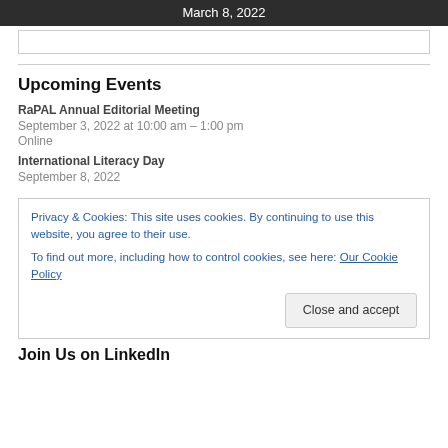March 8, 2022
Upcoming Events
RaPAL Annual Editorial Meeting
September 3, 2022 at 10:00 am – 1:00 pm
Online
International Literacy Day
September 8, 2022
Privacy & Cookies: This site uses cookies. By continuing to use this website, you agree to their use.
To find out more, including how to control cookies, see here: Our Cookie Policy
Close and accept
Join Us on LinkedIn